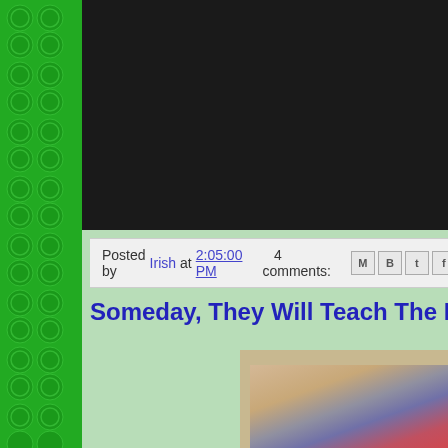[Figure (photo): Green shamrock/clover bubble pattern sidebar on left]
[Figure (photo): Dark header area at top right]
Posted by Irish at 2:05:00 PM   4 comments:
Someday, They Will Teach The Kids A
[Figure (photo): Photo of a child, partially visible, showing legs and lower body]